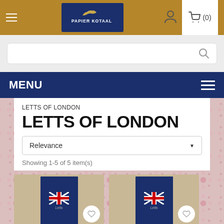Papier Kotaal - Header navigation with logo, user icon, and cart (0)
[Figure (screenshot): Search bar with magnifying glass icon on light gray background]
MENU
LETTS OF LONDON
LETTS OF LONDON
Relevance
Showing 1-5 of 5 item(s)
[Figure (photo): Product thumbnail of Letts of London diary/planner in dark navy blue cover with UK flag motif, with a heart wishlist button]
[Figure (photo): Second product thumbnail of Letts of London diary/planner in dark navy blue cover with UK flag motif, with a heart wishlist button]